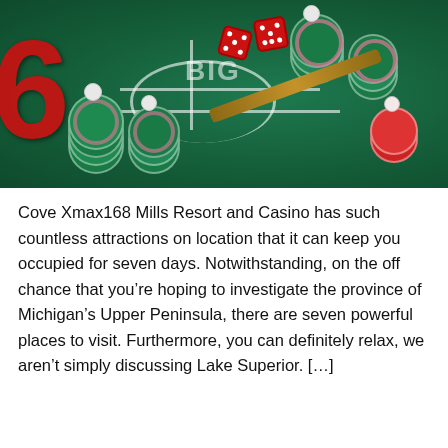[Figure (photo): Casino craps table with green felt, red number 6, stacks of green and red casino chips, two red dice, and a wooden croupier stick]
Cove Xmax168 Mills Resort and Casino has such countless attractions on location that it can keep you occupied for seven days. Notwithstanding, on the off chance that you’re hoping to investigate the province of Michigan’s Upper Peninsula, there are seven powerful places to visit. Furthermore, you can definitely relax, we aren’t simply discussing Lake Superior. […]